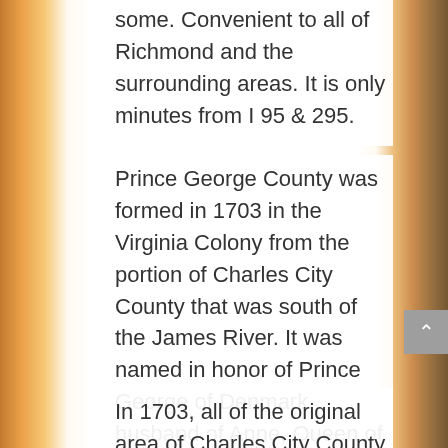some. Convenient to all of Richmond and the surrounding areas. It is only minutes from I 95 & 295.
Prince George County was formed in 1703 in the Virginia Colony from the portion of Charles City County that was south of the James River. It was named in honor of Prince George of Denmark, husband of Anne, Queen of Great Britain.
In 1703, all of the original area of Charles City County south of the James River was severed to form Prince George County. As population